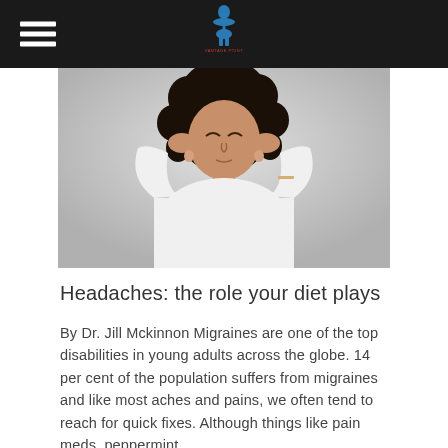Vantage Point Chiropractic & Wellness
[Figure (photo): A young woman with curly hair pressing her hands to her temples, appearing to have a headache, wearing a white t-shirt, against a light gray background.]
Headaches: the role your diet plays
By Dr. Jill Mckinnon Migraines are one of the top disabilities in young adults across the globe. 14 per cent of the population suffers from migraines and like most aches and pains, we often tend to reach for quick fixes. Although things like pain meds, peppermint